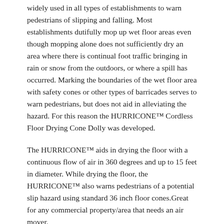widely used in all types of establishments to warn pedestrians of slipping and falling. Most establishments dutifully mop up wet floor areas even though mopping alone does not sufficiently dry an area where there is continual foot traffic bringing in rain or snow from the outdoors, or where a spill has occurred. Marking the boundaries of the wet floor area with safety cones or other types of barricades serves to warn pedestrians, but does not aid in alleviating the hazard. For this reason the HURRICONE™ Cordless Floor Drying Cone Dolly was developed.
The HURRICONE™ aids in drying the floor with a continuous flow of air in 360 degrees and up to 15 feet in diameter. While drying the floor, the HURRICONE™ also warns pedestrians of a potential slip hazard using standard 36 inch floor cones.Great for any commercial property/area that needs an air mover.
[Figure (other): Social sharing buttons: Share (Facebook), Tweet (Twitter), Pin It (Pinterest)]
YOU MAY ALSO LIKE